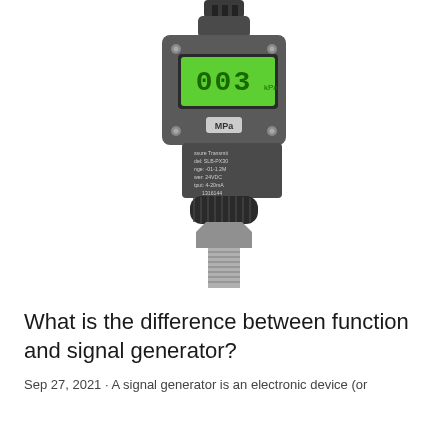[Figure (photo): A pressure transmitter device with a digital LCD display showing '003' on a green screen with 'MPa' label, a black housing body, and a stainless steel threaded fitting at the bottom. Label text on device reads: Pressure Transmitter, Model: SLB-PX30, Range: -01-1.2MPa, Power: 24VDC, Output: 4-20mA, 1316144, Simea Automation.]
What is the difference between function and signal generator?
Sep 27, 2021 · A signal generator is an electronic device (or